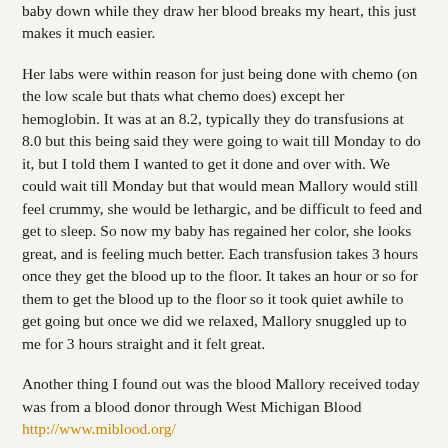baby down while they draw her blood breaks my heart, this just makes it much easier.
Her labs were within reason for just being done with chemo (on the low scale but thats what chemo does) except her hemoglobin. It was at an 8.2, typically they do transfusions at 8.0 but this being said they were going to wait till Monday to do it, but I told them I wanted to get it done and over with. We could wait till Monday but that would mean Mallory would still feel crummy, she would be lethargic, and be difficult to feed and get to sleep. So now my baby has regained her color, she looks great, and is feeling much better. Each transfusion takes 3 hours once they get the blood up to the floor. It takes an hour or so for them to get the blood up to the floor so it took quiet awhile to get going but once we did we relaxed, Mallory snuggled up to me for 3 hours straight and it felt great.
Another thing I found out was the blood Mallory received today was from a blood donor through West Michigan Blood http://www.miblood.org/
So if you've donated recently and had A+ blood you could have helped her out!!! I am super excited about the blood drive, they are